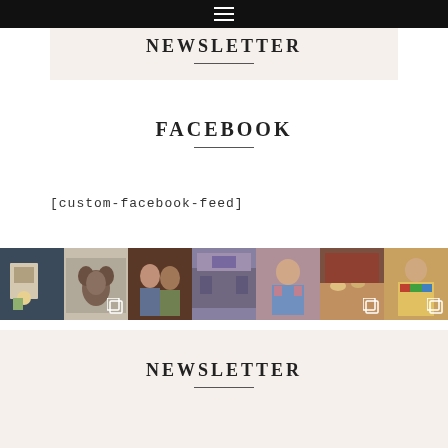☰ (hamburger menu icon)
NEWSLETTER
FACEBOOK
[custom-facebook-feed]
[Figure (photo): A horizontal strip of 7 photo thumbnails showing various social media images including people, food, and indoor scenes. Some cells show a multi-image overlay icon.]
NEWSLETTER